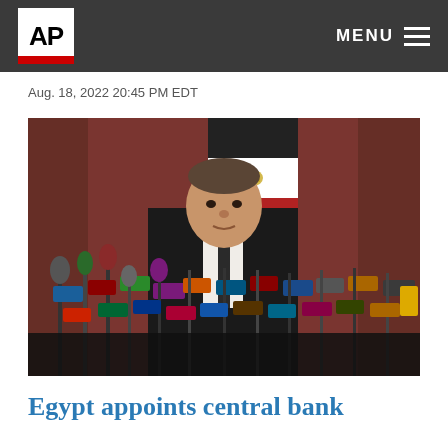AP MENU
Aug. 18, 2022 20:45 PM EDT
[Figure (photo): A man in a dark suit speaking at a press conference with many microphones in front of him and an Egyptian flag in the background against a dark red curtain.]
Egypt appoints central bank